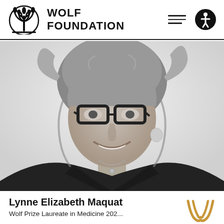Wolf Foundation
[Figure (photo): Black and white portrait photo of Lynne Elizabeth Maquat, a woman with shoulder-length light hair wearing black-framed glasses and a black top with a necklace, smiling.]
Lynne Elizabeth Maquat
Wolf Prize Laureate in Medicine 202...